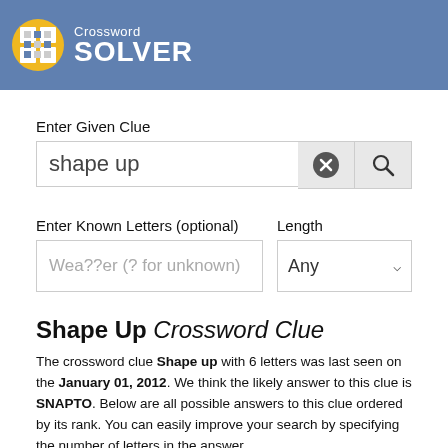Crossword SOLVER
Enter Given Clue
shape up
Enter Known Letters (optional)
Length
Wea??er (? for unknown)
Any
Shape Up Crossword Clue
The crossword clue Shape up with 6 letters was last seen on the January 01, 2012. We think the likely answer to this clue is SNAPTO. Below are all possible answers to this clue ordered by its rank. You can easily improve your search by specifying the number of letters in the answer.